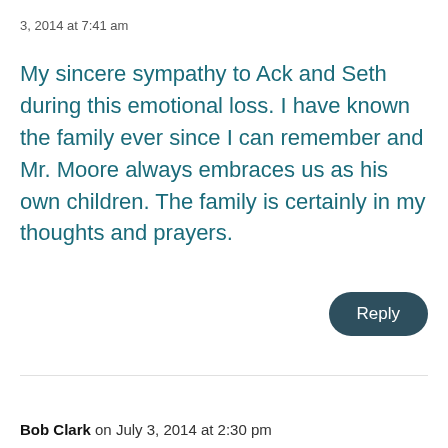3, 2014 at 7:41 am
My sincere sympathy to Ack and Seth during this emotional loss. I have known the family ever since I can remember and Mr. Moore always embraces us as his own children. The family is certainly in my thoughts and prayers.
Reply
Bob Clark on July 3, 2014 at 2:30 pm